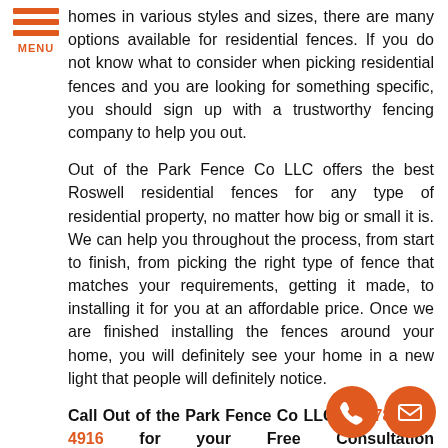MENU
homes in various styles and sizes, there are many options available for residential fences. If you do not know what to consider when picking residential fences and you are looking for something specific, you should sign up with a trustworthy fencing company to help you out.
Out of the Park Fence Co LLC offers the best Roswell residential fences for any type of residential property, no matter how big or small it is. We can help you throughout the process, from start to finish, from picking the right type of fence that matches your requirements, getting it made, to installing it for you at an affordable price. Once we are finished installing the fences around your home, you will definitely see your home in a new light that people will definitely notice.
Call Out of the Park Fence Co LLC at (678) 884-4916 for your Free Consultation with Roswell Residential Fence specialist!